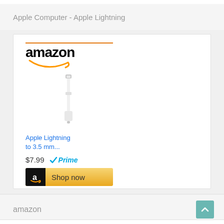Apple Computer - Apple Lightning
[Figure (screenshot): Amazon product listing card for Apple Lightning to 3.5mm adapter, showing Amazon logo, product image of the adapter cable, product title 'Apple Lightning to 3.5 mm...', price $7.99, Prime badge, and a 'Shop now' button]
Apple Lightning to 3.5 mm...
$7.99  Prime
Shop now
amazon